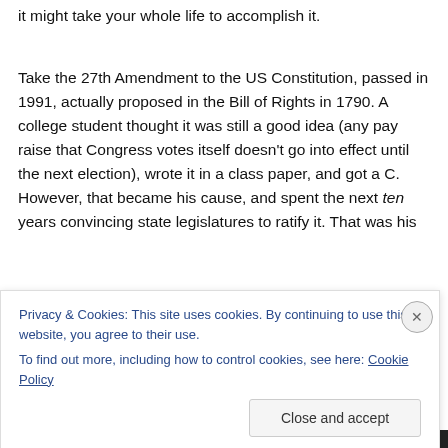it might take your whole life to accomplish it.
Take the 27th Amendment to the US Constitution, passed in 1991, actually proposed in the Bill of Rights in 1790. A college student thought it was still a good idea (any pay raise that Congress votes itself doesn't go into effect until the next election), wrote it in a class paper, and got a C. However, that became his cause, and spent the next ten years convincing state legislatures to ratify it. That was his
Privacy & Cookies: This site uses cookies. By continuing to use this website, you agree to their use.
To find out more, including how to control cookies, see here: Cookie Policy
Close and accept